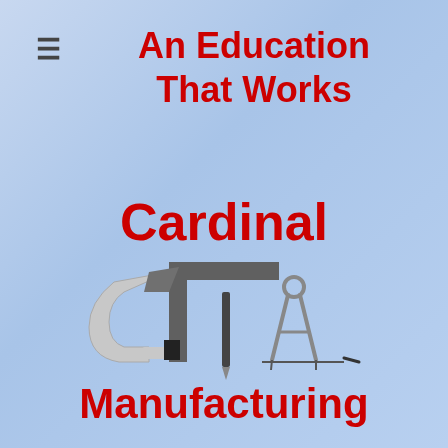≡
An Education That Works
Cardinal
[Figure (logo): Cardinal Manufacturing logo showing engineering tools: a micrometer/clamp, a set square (L-shaped), a pencil/stylus, and a compass/dividers, all in gray tones]
Manufacturing